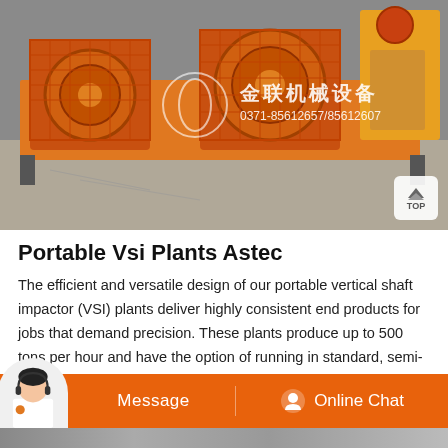[Figure (photo): Photo of an orange and red industrial roll crusher / double-roller crushing machine on a factory floor. White watermark overlay shows a circular logo, Chinese text '金联机械设备' and phone number '0371-85612657/85612607'. A 'TOP' button is visible in the bottom-right corner of the image.]
Portable Vsi Plants Astec
The efficient and versatile design of our portable vertical shaft impactor (VSI) plants deliver highly consistent end products for jobs that demand precision. These plants produce up to 500 tons per hour and have the option of running in standard, semi-autogenous and fully-autogenous
[Figure (photo): Partial bottom strip showing another industrial machine photo, cut off at bottom of page.]